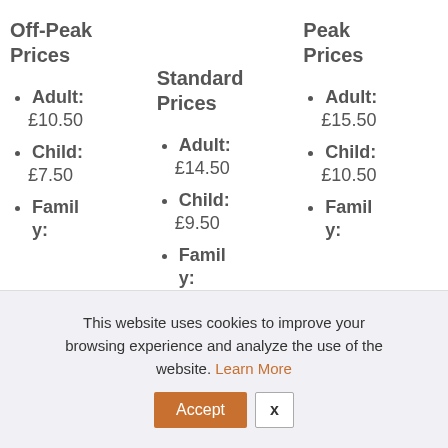Off-Peak Prices
Adult: £10.50
Child: £7.50
Family:
Standard Prices
Adult: £14.50
Child: £9.50
Family:
Peak Prices
Adult: £15.50
Child: £10.50
Family:
This website uses cookies to improve your browsing experience and analyze the use of the website. Learn More